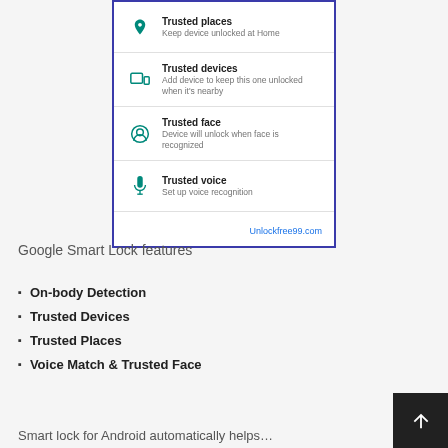[Figure (screenshot): Android Smart Lock settings menu showing Trusted places, Trusted devices, Trusted face, Trusted voice options with teal icons, and Unlockfree99.com watermark]
Google Smart Lock features
On-body Detection
Trusted Devices
Trusted Places
Voice Match & Trusted Face
Smart Lock for Android automatically helps…